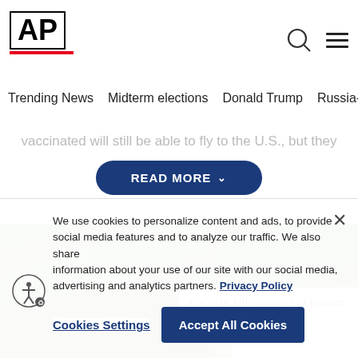AP
Trending News
Midterm elections
Donald Trump
Russia-Ukr
vaccinated will still be able to fly to the U.S., but they
READ MORE
[Figure (photo): Outdoor scene with trees and soldiers in military gear; split image. Overlay text reads: Car blast kills daughter of Russian as Putin's ...]
We use cookies to personalize content and ads, to provide social media features and to analyze our traffic. We also share information about your use of our site with our social media, advertising and analytics partners. Privacy Policy
Cookies Settings
Accept All Cookies